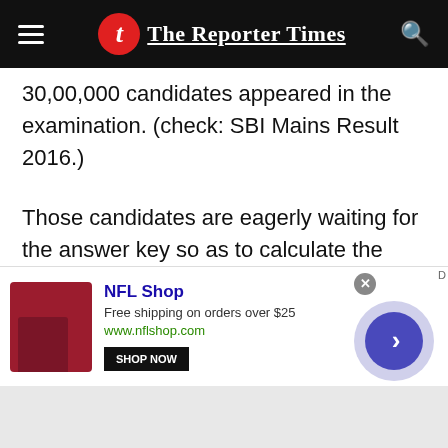The Reporter Times
30,00,000 candidates appeared in the examination. (check: SBI Mains Result 2016.)
Those candidates are eagerly waiting for the answer key so as to calculate the marks to check their performance in the examination. CBSE has released the answer key along with the solutions for students. They have also provided sample papers for those students who will appear next year in the examination.
[Figure (other): NFL Shop advertisement banner with product image, shop now button, and navigation arrow]